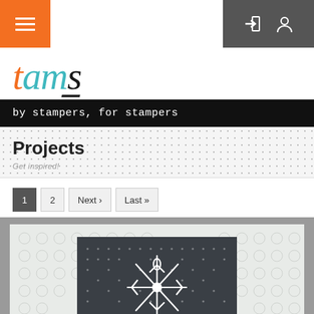tams — by stampers, for stampers
Projects
Get inspired!
1  2  Next ›  Last »
[Figure (photo): A stamped greeting card with a white snowflake embossed design on a dark charcoal background, set on a light embossed cardstock, shown partially cropped at page bottom.]